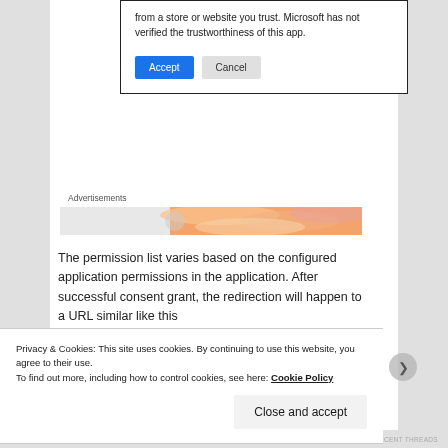[Figure (screenshot): Microsoft app permission dialog box showing 'from a store or website you trust. Microsoft has not verified the trustworthiness of this app.' with Accept and Cancel buttons]
Advertisements
[Figure (illustration): Advertisements banner with orange/peach gradient pattern]
The permission list varies based on the configured application permissions in the application. After successful consent grant, the redirection will happen to a URL similar like this
Privacy & Cookies: This site uses cookies. By continuing to use this website, you agree to their use.
To find out more, including how to control cookies, see here: Cookie Policy
Close and accept